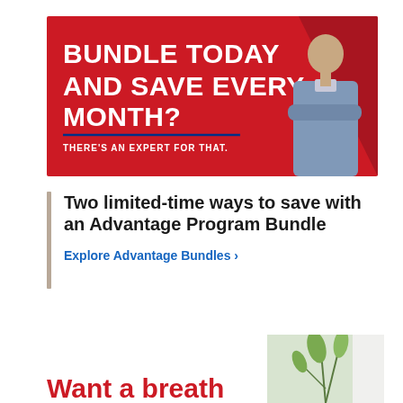[Figure (photo): Red promotional banner with white bold text reading 'BUNDLE TODAY AND SAVE EVERY MONTH?' and tagline 'THERE'S AN EXPERT FOR THAT.' with a smiling man in a blue uniform shirt with arms crossed on the right side]
Two limited-time ways to save with an Advantage Program Bundle
Explore Advantage Bundles >
[Figure (photo): Partial image of plants/flowers on right side, with red text 'Want a breath' visible at bottom left]